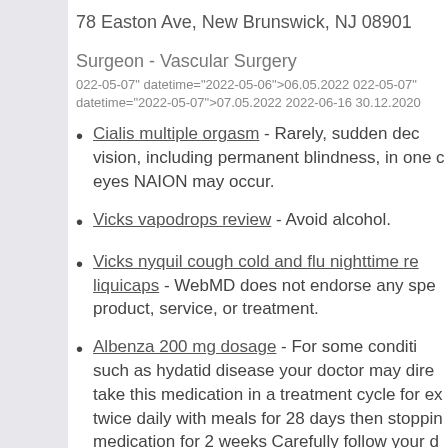78 Easton Ave, New Brunswick, NJ 08901
Surgeon - Vascular Surgery
022-05-07" datetime="2022-05-06">06.05.2022 022-05-07" datetime="2022-05-07">07.05.2022 2022-06-16 30.12.2020
Cialis multiple orgasm - Rarely, sudden dec vision, including permanent blindness, in one c eyes NAION may occur.
Vicks vapodrops review - Avoid alcohol.
Vicks nyquil cough cold and flu nighttime re liquicaps - WebMD does not endorse any spe product, service, or treatment.
Albenza 200 mg dosage - For some conditi such as hydatid disease your doctor may dire take this medication in a treatment cycle for e twice daily with meals for 28 days then stoppi medication for 2 weeks Carefully follow your d